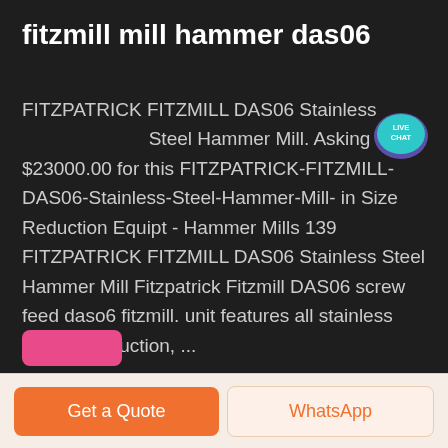fitzmill mill hammer das06
FITZPATRICK FITZMILL DAS06 Stainless Steel Hammer Mill. Asking $23000.00 for this FITZPATRICK-FITZMILL-DAS06-Stainless-Steel-Hammer-Mill- in Size Reduction Equipt - Hammer Mills 139 FITZPATRICK FITZMILL DAS06 Stainless Steel Hammer Mill Fitzpatrick Fitzmill DAS06 screw feed daso6 fitzmill. unit features all stainless steel construction, ...
[Figure (other): Live Chat speech bubble badge with teal/cyan background and white text reading LIVE CHAT]
Get a Quote
WhatsApp